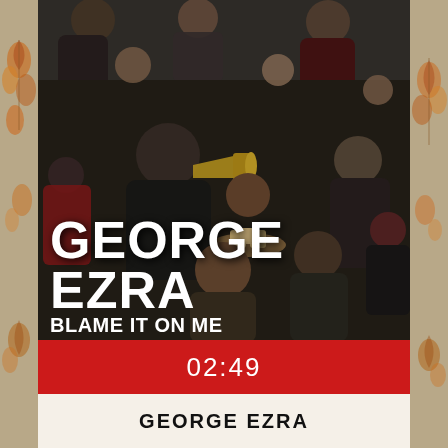[Figure (photo): Album artwork for George Ezra 'Blame It On Me' — overhead/crowd-level photo of a group of people at a party or social event. A man with a megaphone stands in the center-left, and a person holds a tray with cups. White bold text reading 'GEORGE EZRA' and 'BLAME IT ON ME' overlaid in the lower-left of the image. Decorative side strips with autumn/floral motifs on left and right edges.]
02:49
GEORGE EZRA